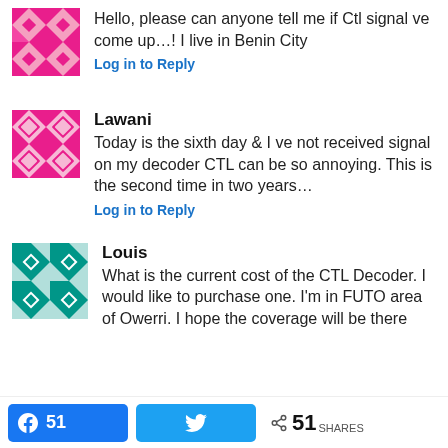[Figure (illustration): Pink geometric patterned avatar for anonymous user]
Hello, please can anyone tell me if Ctl signal ve come up…! I live in Benin City
Log in to Reply
[Figure (illustration): Pink geometric patterned avatar for Lawani]
Lawani
Today is the sixth day & I ve not received signal on my decoder CTL can be so annoying. This is the second time in two years…
Log in to Reply
[Figure (illustration): Teal/green geometric patterned avatar for Louis]
Louis
What is the current cost of the CTL Decoder. I would like to purchase one. I'm in FUTO area of Owerri. I hope the coverage will be there
51  [Facebook share button]  [Twitter share button]  < 51 SHARES